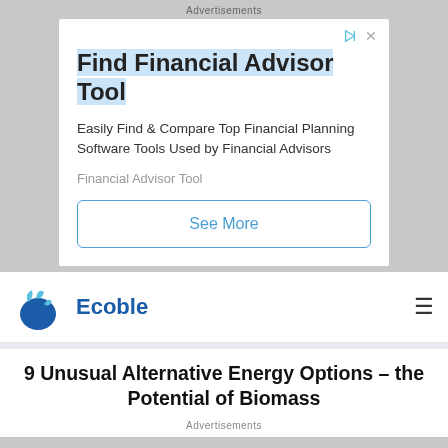Advertisements
[Figure (infographic): Advertisement box: Find Financial Advisor Tool. Easily Find & Compare Top Financial Planning Software Tools Used by Financial Advisors. Financial Advisor Tool. See More button.]
[Figure (logo): Ecoble logo with water droplet icon and blue text]
9 Unusual Alternative Energy Options – the Potential of Biomass
Advertisements